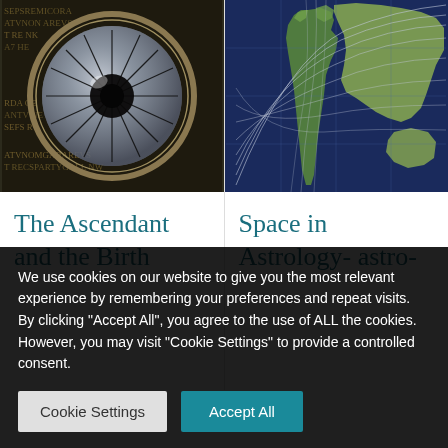[Figure (illustration): Circular astrology wheel with crystal/glass orb in center, dark background with Latin/astrological text around the rim]
[Figure (illustration): World map showing satellite ground tracks or astrocartography lines arcing across continents and oceans on dark blue background]
The Ascendant and the Birth
Space in Astrology- astro-
We use cookies on our website to give you the most relevant experience by remembering your preferences and repeat visits. By clicking "Accept All", you agree to the use of ALL the cookies. However, you may visit "Cookie Settings" to provide a controlled consent.